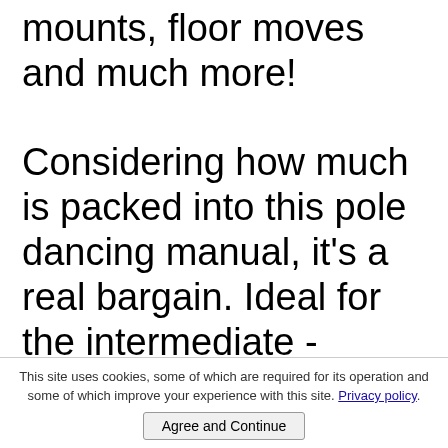mounts, floor moves and much more! Considering how much is packed into this pole dancing manual, it's a real bargain. Ideal for the intermediate - advanced pole dancer, and the perfect step up for
This site uses cookies, some of which are required for its operation and some of which improve your experience with this site. Privacy policy.
Agree and Continue